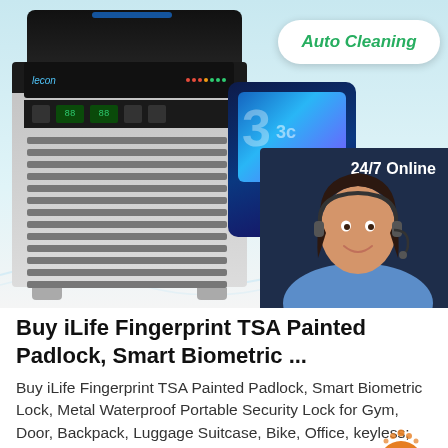[Figure (photo): Product advertisement image showing a Lecon ice maker machine on the left with stainless steel grill ventilation, a blue biometric/electronic device in the center-right, and a customer service agent (woman with headset) on the far right. Overlaid text labels include 'Auto Cleaning', '24/7 Online', 'Blue Steri', 'Click here for free chat!', and an orange 'QUOTATION' button.]
Buy iLife Fingerprint TSA Painted Padlock, Smart Biometric ...
Buy iLife Fingerprint TSA Painted Padlock, Smart Biometric Lock, Metal Waterproof Portable Security Lock for Gym, Door, Backpack, Luggage Suitcase, Bike, Office, keyless; Gold